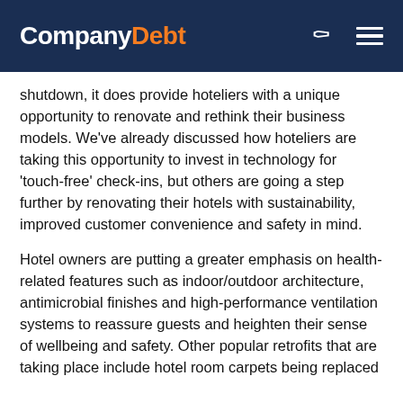CompanyDebt
shutdown, it does provide hoteliers with a unique opportunity to renovate and rethink their business models. We've already discussed how hoteliers are taking this opportunity to invest in technology for 'touch-free' check-ins, but others are going a step further by renovating their hotels with sustainability, improved customer convenience and safety in mind.
Hotel owners are putting a greater emphasis on health-related features such as indoor/outdoor architecture, antimicrobial finishes and high-performance ventilation systems to reassure guests and heighten their sense of wellbeing and safety. Other popular retrofits that are taking place include hotel room carpets being replaced